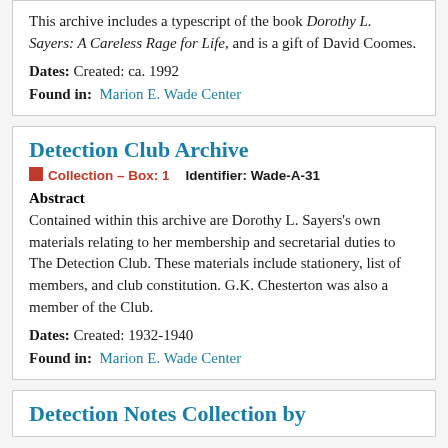This archive includes a typescript of the book Dorothy L. Sayers: A Careless Rage for Life, and is a gift of David Coomes.
Dates: Created: ca. 1992
Found in: Marion E. Wade Center
Detection Club Archive
Collection – Box: 1    Identifier: Wade-A-31
Abstract
Contained within this archive are Dorothy L. Sayers's own materials relating to her membership and secretarial duties to The Detection Club. These materials include stationery, list of members, and club constitution. G.K. Chesterton was also a member of the Club.
Dates: Created: 1932-1940
Found in: Marion E. Wade Center
Detection Notes Collection by